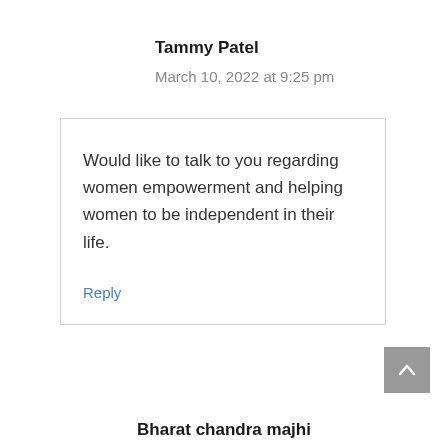Tammy Patel
March 10, 2022 at 9:25 pm
Would like to talk to you regarding women empowerment and helping women to be independent in their life.
Reply
Bharat chandra majhi